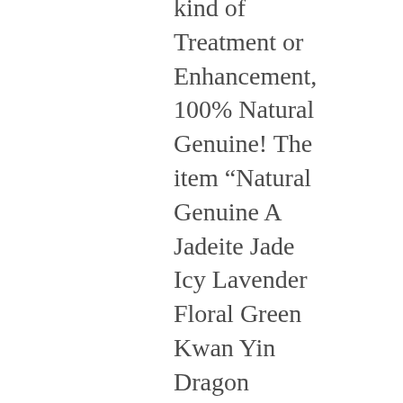kind of Treatment or Enhancement, 100% Natural Genuine! The item “Natural Genuine A Jadeite Jade Icy Lavender Floral Green Kwan Yin Dragon Pendant” is in sale since Friday, October 7